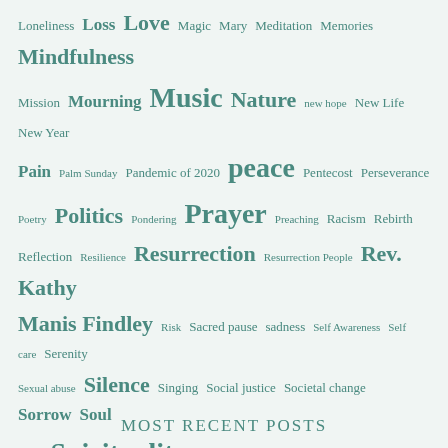Loneliness Loss Love Magic Mary Meditation Memories Mindfulness Mission Mourning Music Nature new hope New Life New Year Pain Palm Sunday Pandemic of 2020 peace Pentecost Perseverance Poetry Politics Pondering Prayer Preaching Racism Rebirth Reflection Resilience Resurrection Resurrection People Rev. Kathy Manis Findley Risk Sacred pause sadness Self Awareness Self care Serenity Sexual abuse Silence Singing Social justice Societal change Sorrow Soul Spirit Spirituality Spirit wind Stars Stillness strength struggle Suffering sunrise Surprise surviving Tikkun Olam Transformation Travel Trees Trust Violence Waiting Wilderness journey Women Worship
Most Recent Posts